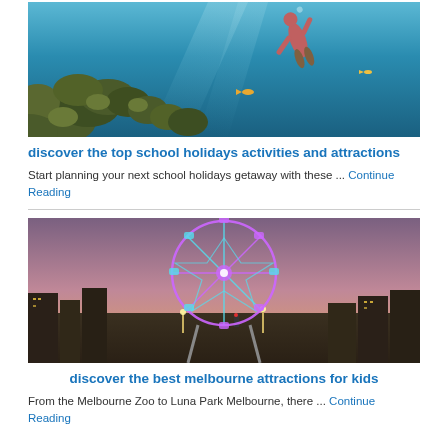[Figure (photo): Underwater photo of a scuba diver swimming above coral reef with blue water]
discover the top school holidays activities and attractions
Start planning your next school holidays getaway with these ... Continue Reading
[Figure (photo): Night photo of illuminated ferris wheel (Luna Park Melbourne) with city buildings in background at dusk]
discover the best melbourne attractions for kids
From the Melbourne Zoo to Luna Park Melbourne, there ... Continue Reading